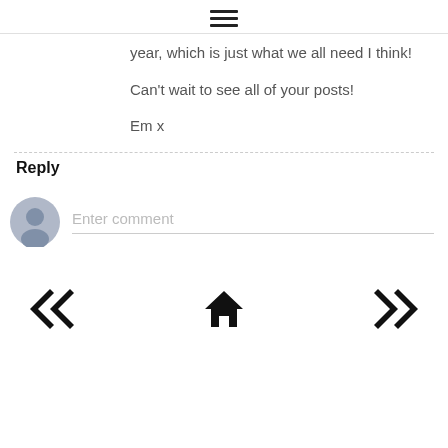≡ (hamburger menu icon)
year, which is just what we all need I think!

Can't wait to see all of your posts!

Em x
Reply
[Figure (other): User avatar placeholder circle with person silhouette, next to an 'Enter comment' input field with underline]
[Figure (other): Navigation bar with left double-arrow (<<), home icon, and right double-arrow (>>)]